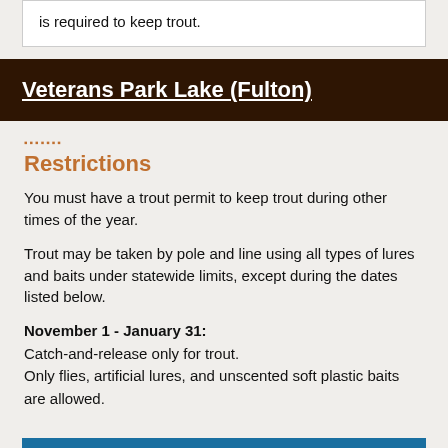is required to keep trout.
Veterans Park Lake (Fulton)
Restrictions
You must have a trout permit to keep trout during other times of the year.
Trout may be taken by pole and line using all types of lures and baits under statewide limits, except during the dates listed below.
November 1 - January 31: Catch-and-release only for trout. Only flies, artificial lures, and unscented soft plastic baits are allowed.